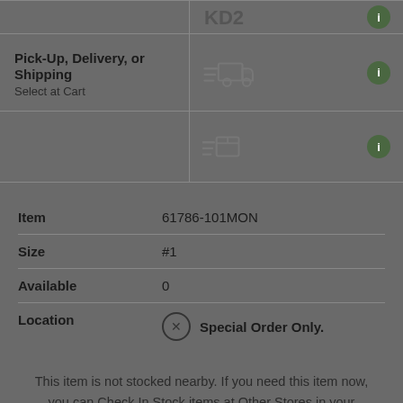Pick-Up, Delivery, or Shipping
Select at Cart
[Figure (illustration): Truck with speed lines icon]
[Figure (illustration): Box/package with speed lines icon]
| Item | 61786-101MON |
| Size | #1 |
| Available | 0 |
| Location | Special Order Only. |
This item is not stocked nearby. If you need this item now, you can Check In Stock items at Other Stores in your expanded area, or contact your